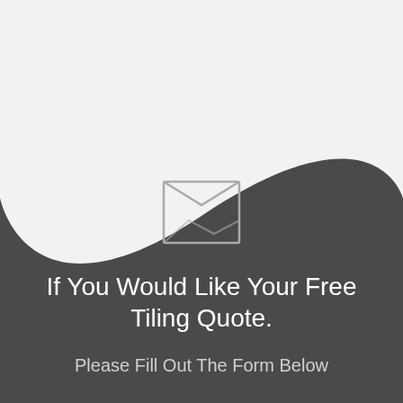[Figure (illustration): Dark charcoal arch/wave shape rising from the bottom, with a light gray envelope icon (open envelope inside a square outline) centered in the dark area]
If You Would Like Your Free Tiling Quote.
Please Fill Out The Form Below